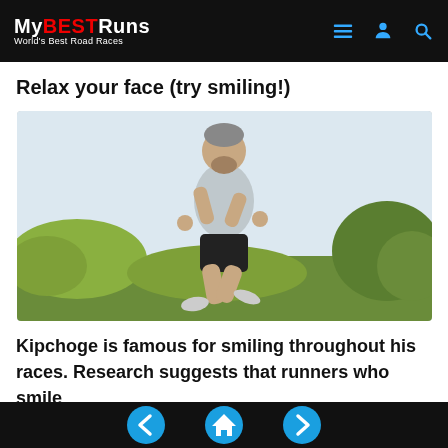MyBESTRuns — World's Best Road Races
Relax your face (try smiling!)
[Figure (photo): An older man with grey beard and hair, wearing a light grey t-shirt and black shorts, jogging outdoors with trees and foliage in the background.]
Kipchoge is famous for smiling throughout his races. Research suggests that runners who smile
Navigation: back, home, forward